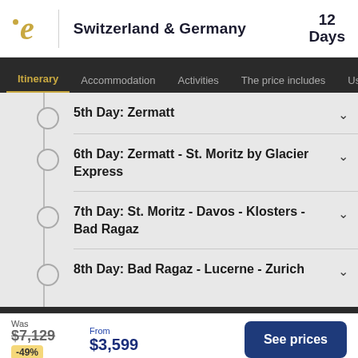Switzerland & Germany | 12 Days
Itinerary | Accommodation | Activities | The price includes | User...
5th Day: Zermatt
6th Day: Zermatt - St. Moritz by Glacier Express
7th Day: St. Moritz - Davos - Klosters - Bad Ragaz
8th Day: Bad Ragaz - Lucerne - Zurich
Was $7,129 -49% | From $3,599 | See prices